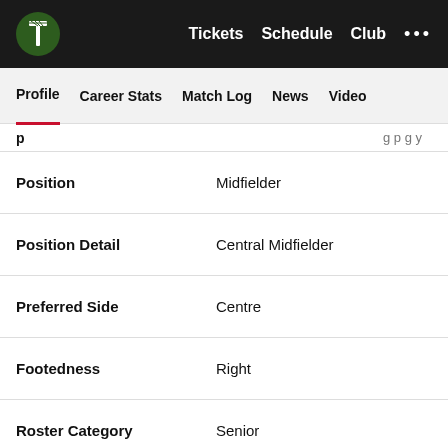Portland Timbers — Tickets | Schedule | Club
Profile | Career Stats | Match Log | News | Video
| Field | Value |
| --- | --- |
| Position | Midfielder |
| Position Detail | Central Midfielder |
| Preferred Side | Centre |
| Footedness | Right |
| Roster Category | Senior |